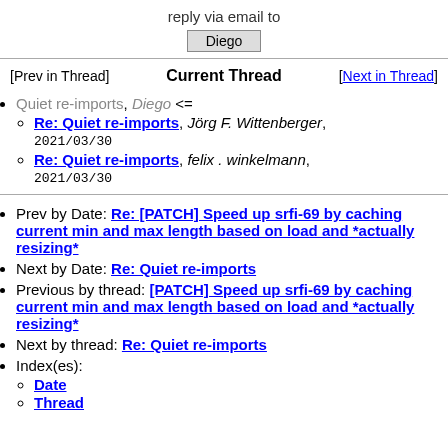reply via email to
Diego
[Prev in Thread]    Current Thread    [Next in Thread]
Quiet re-imports, Diego <=
Re: Quiet re-imports, Jörg F. Wittenberger, 2021/03/30
Re: Quiet re-imports, felix . winkelmann, 2021/03/30
Prev by Date: Re: [PATCH] Speed up srfi-69 by caching current min and max length based on load and *actually resizing*
Next by Date: Re: Quiet re-imports
Previous by thread: [PATCH] Speed up srfi-69 by caching current min and max length based on load and *actually resizing*
Next by thread: Re: Quiet re-imports
Index(es):
Date
Thread